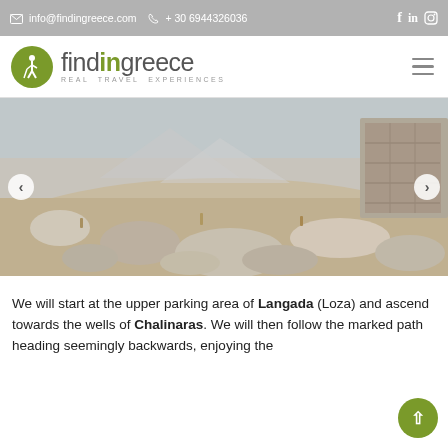info@findingreece.com  +30 6944326036
[Figure (logo): FindInGreece logo with circular olive-green icon and tagline REAL TRAVEL EXPERIENCES]
[Figure (photo): Rocky mountain landscape with ancient stone ruins under a blue sky, with left and right carousel arrows]
We will start at the upper parking area of Langada (Loza) and ascend towards the wells of Chalinaras. We will then follow the marked path heading seemingly backwards, enjoying the ti... (truncated)